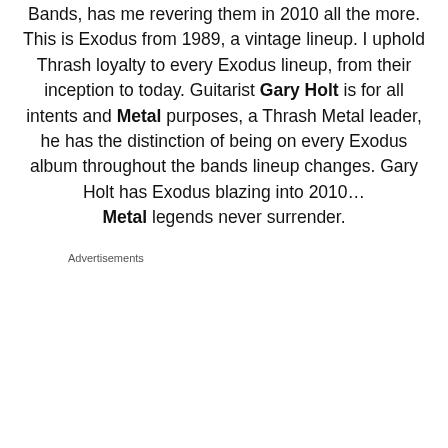Bands, has me revering them in 2010 all the more. This is Exodus from 1989, a vintage lineup. I uphold Thrash loyalty to every Exodus lineup, from their inception to today. Guitarist Gary Holt is for all intents and Metal purposes, a Thrash Metal leader, he has the distinction of being on every Exodus album throughout the bands lineup changes. Gary Holt has Exodus blazing into 2010… Metal legends never surrender.
Advertisements